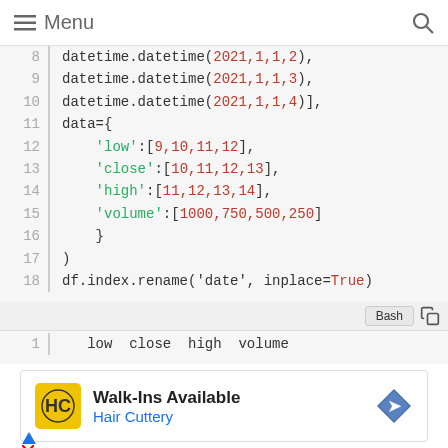≡ Menu
[Figure (screenshot): Python code block showing lines 8-18 with datetime objects and data dictionary with low, close, high, volume keys]
[Figure (screenshot): Bash output block showing line 1 with column headers: low close high volume]
[Figure (other): Advertisement for Hair Cuttery - Walk-Ins Available]